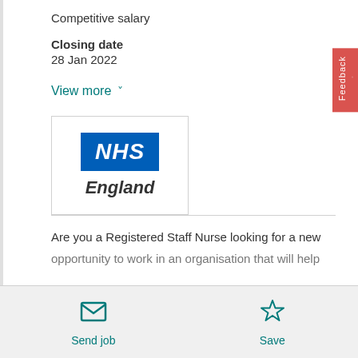Competitive salary
Closing date
28 Jan 2022
View more
[Figure (logo): NHS England logo — blue NHS badge with white italic text and 'England' in bold italic below]
Are you a Registered Staff Nurse looking for a new opportunity to work in an organisation that will help
Send job
Save